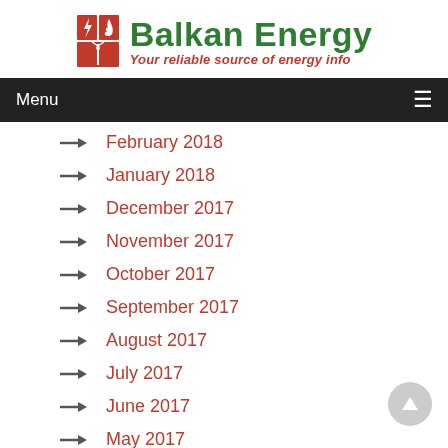[Figure (logo): Balkan Energy logo with red icon grid and green/red text: 'Balkan Energy - Your reliable source of energy info']
Menu
February 2018
January 2018
December 2017
November 2017
October 2017
September 2017
August 2017
July 2017
June 2017
May 2017